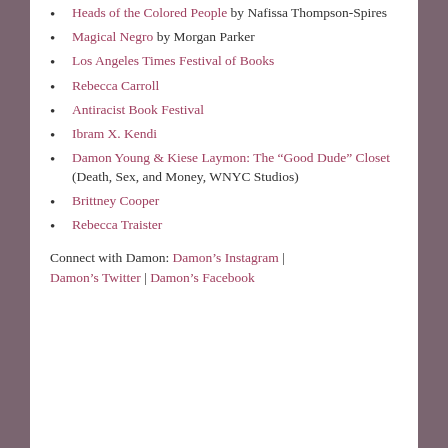Heads of the Colored People by Nafissa Thompson-Spires
Magical Negro by Morgan Parker
Los Angeles Times Festival of Books
Rebecca Carroll
Antiracist Book Festival
Ibram X. Kendi
Damon Young & Kiese Laymon: The “Good Dude” Closet (Death, Sex, and Money, WNYC Studios)
Brittney Cooper
Rebecca Traister
Connect with Damon: Damon’s Instagram | Damon’s Twitter | Damon’s Facebook